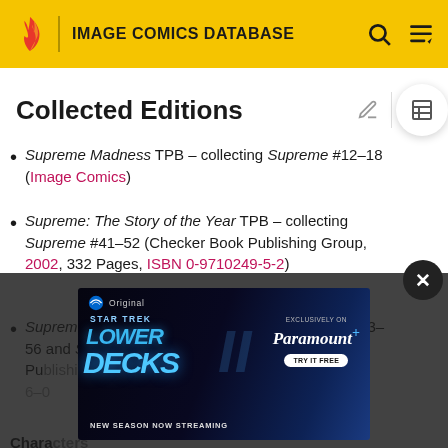IMAGE COMICS DATABASE
Collected Editions
Supreme Madness TPB – collecting Supreme #12–18 (Image Comics)
Supreme: The Story of the Year TPB – collecting Supreme #41–52 (Checker Book Publishing Group, 2002, 332 Pages, ISBN 0-9710249-5-2)
Supreme: The Return TPB – collecting Supreme #53–56 and Supreme: The Return #1–6 (Checker Book Publishing Group, ISBN 0-9710249-6-0)
Characters
[Figure (screenshot): Star Trek Lower Decks advertisement overlay - Paramount+ Original, New Season Now Streaming, Exclusively on Paramount+, Try It Free]